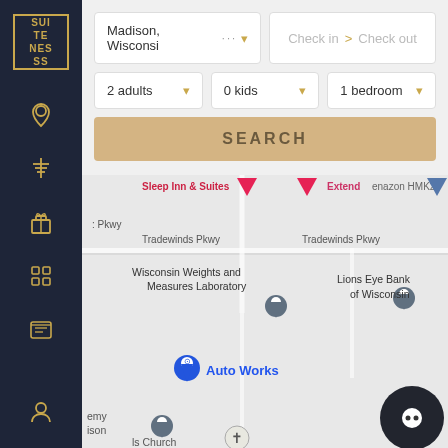[Figure (screenshot): Suiteness hotel search interface with sidebar navigation, search filters for location (Madison, Wisconsin), check in/out dates, 2 adults, 0 kids, 1 bedroom, SEARCH button, and a Google Maps view showing Wisconsin Weights and Measures Laboratory, Lions Eye Bank of Wisconsin, Auto Works, and other landmarks.]
SUI
TE
NES
SS
Madison, Wisconsi
Check in
Check out
2 adults
0 kids
1 bedroom
SEARCH
Sleep Inn & Suites
Extend
enazon HMK2
Pkwy
Tradewinds Pkwy
Tradewinds Pkwy
Wisconsin Weights and Measures Laboratory
Lions Eye Bank of Wisconsin
Auto Works
emy
ison
Is Church
l
Hum